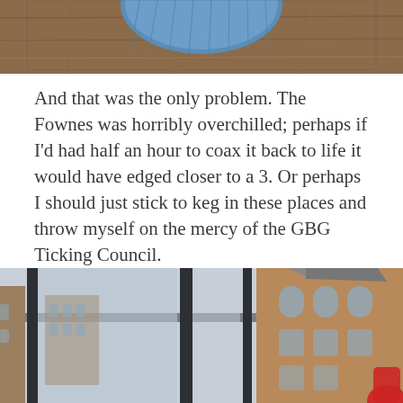[Figure (photo): Partial photo at top of page showing what appears to be a blue knitted fabric item on a wooden surface, cropped at the bottom portion only.]
And that was the only problem. The Fownes was horribly overchilled; perhaps if I'd had half an hour to coax it back to life it would have edged closer to a 3. Or perhaps I should just stick to keg in these places and throw myself on the mercy of the GBG Ticking Council.
[Figure (photo): Photo showing a view through dark-framed windows of a Victorian or Edwardian red-brick building exterior with ornate architecture, arched windows, and a grey sky. A person with a red item is partially visible on the right edge.]